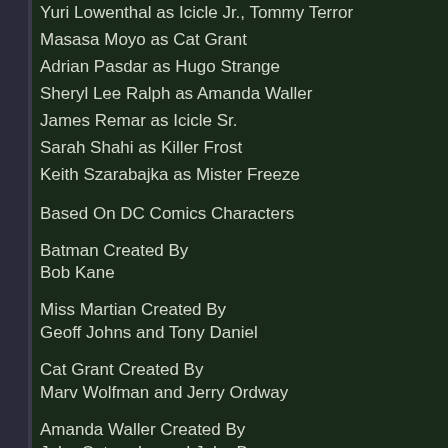Yuri Lowenthal as Icicle Jr., Tommy Terror
Masasa Moyo as Cat Grant
Adrian Pasdar as Hugo Strange
Sheryl Lee Ralph as Amanda Waller
James Remar as Icicle Sr.
Sarah Shahi as Killer Frost
Keith Szarabajka as Mister Freeze
Based On DC Comics Characters
Batman Created By
Bob Kane
Miss Martian Created By
Geoff Johns and Tony Daniel
Cat Grant Created By
Marv Wolfman and Jerry Ordway
Amanda Waller Created By
John Ostrander and John Byrne
Production Manager